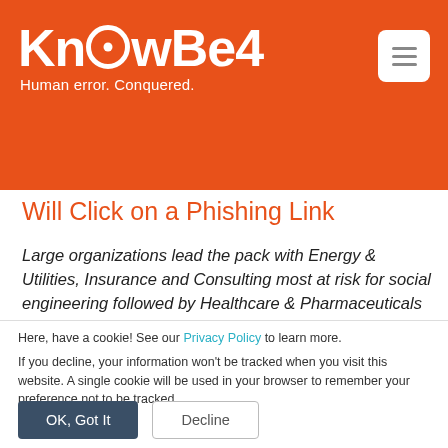[Figure (logo): KnowBe4 logo with text 'Human error. Conquered.' on orange background]
Will Click on a Phishing Link
Large organizations lead the pack with Energy & Utilities, Insurance and Consulting most at risk for social engineering followed by Healthcare & Pharmaceuticals for small and
Here, have a cookie! See our Privacy Policy to learn more.

If you decline, your information won't be tracked when you visit this website. A single cookie will be used in your browser to remember your preference not to be tracked.
OK, Got It   Decline